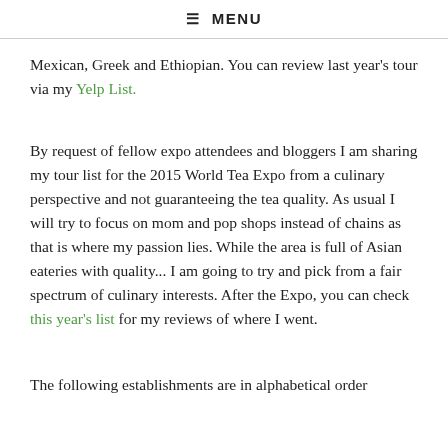≡ MENU
Mexican, Greek and Ethiopian. You can review last year's tour via my Yelp List.
By request of fellow expo attendees and bloggers I am sharing my tour list for the 2015 World Tea Expo from a culinary perspective and not guaranteeing the tea quality. As usual I will try to focus on mom and pop shops instead of chains as that is where my passion lies. While the area is full of Asian eateries with quality... I am going to try and pick from a fair spectrum of culinary interests. After the Expo, you can check this year's list for my reviews of where I went.
The following establishments are in alphabetical order